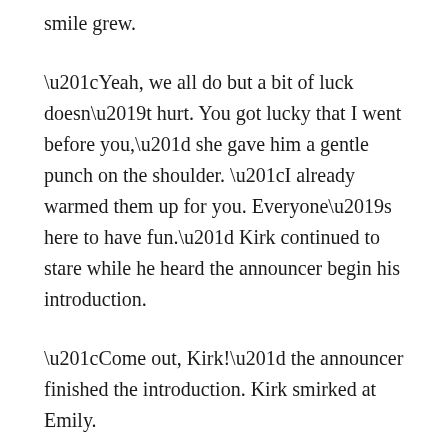smile grew.
“Yeah, we all do but a bit of luck doesn’t hurt. You got lucky that I went before you,” she gave him a gentle punch on the shoulder. “I already warmed them up for you. Everyone’s here to have fun.” Kirk continued to stare while he heard the announcer begin his introduction.
“Come out, Kirk!” the announcer finished the introduction. Kirk smirked at Emily.
“If you’ll excuse me, I have a competition to win,” he shoulder checked the young girl as he stepped out onto the stage. He formed the practiced smile on his face and waved to the crowd. There were more people than he